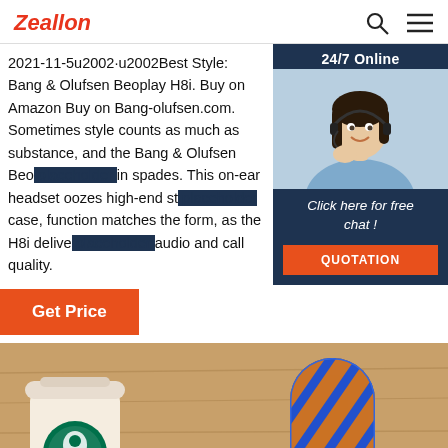Zeallon
2021-11-5u2002·u2002Best Style: Bang & Olufsen Beoplay H8i. Buy on Amazon Buy on Bang-olufsen.com. Sometimes style counts as much as substance, and the Bang & Olufsen Beo... in spades. This on-ear headset oozes high-end st... case, function matches the form, as the H8i delive... audio and call quality.
[Figure (photo): Customer service representative woman wearing headset smiling, shown in a chat widget with '24/7 Online' header, 'Click here for free chat!' text, and an orange QUOTATION button]
Get Price
[Figure (photo): Bottom portion showing a wooden table with a Starbucks coffee cup on the left and a blue and orange striped cylindrical Bluetooth speaker (JBL) in the center]